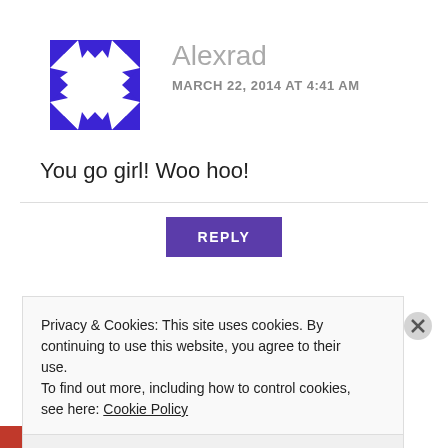[Figure (logo): Blue geometric diamond/crystal avatar logo made of triangular shapes arranged in a square pattern]
Alexrad
MARCH 22, 2014 AT 4:41 AM
You go girl! Woo hoo!
REPLY
Privacy & Cookies: This site uses cookies. By continuing to use this website, you agree to their use.
To find out more, including how to control cookies, see here: Cookie Policy
Close and accept